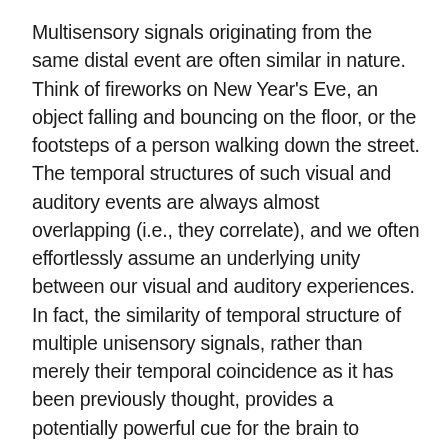Multisensory signals originating from the same distal event are often similar in nature. Think of fireworks on New Year's Eve, an object falling and bouncing on the floor, or the footsteps of a person walking down the street. The temporal structures of such visual and auditory events are always almost overlapping (i.e., they correlate), and we often effortlessly assume an underlying unity between our visual and auditory experiences. In fact, the similarity of temporal structure of multiple unisensory signals, rather than merely their temporal coincidence as it has been previously thought, provides a potentially powerful cue for the brain to determine whether or not multiple sensory signals have a common cause.
Cesare Parise from the Max Planck Institute for Biological Cybernetics in Tübingen and Bernstein Center for Computational Neuroscience Tübingen and his colleagues